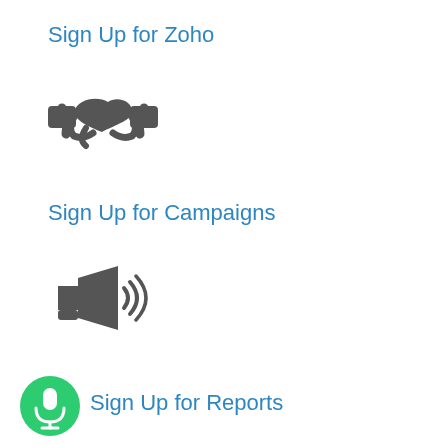Sign Up for Zoho
[Figure (illustration): Handshake icon in dark gray, representing a partnership or agreement]
Sign Up for Campaigns
[Figure (illustration): Megaphone/bullhorn icon with sound waves in dark gray, representing campaigns or announcements]
[Figure (illustration): Green circle with white microphone icon, representing a voice or audio feature]
Sign Up for Reports